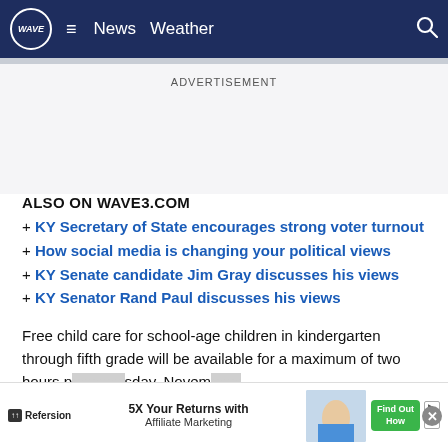WAVE News Weather
ADVERTISEMENT
ALSO ON WAVE3.COM
+ KY Secretary of State encourages strong voter turnout
+ How social media is changing your political views
+ KY Senate candidate Jim Gray discusses his views
+ KY Senator Rand Paul discusses his views
Free child care for school-age children in kindergarten through fifth grade will be available for a maximum of two hours p... sday, Novem...